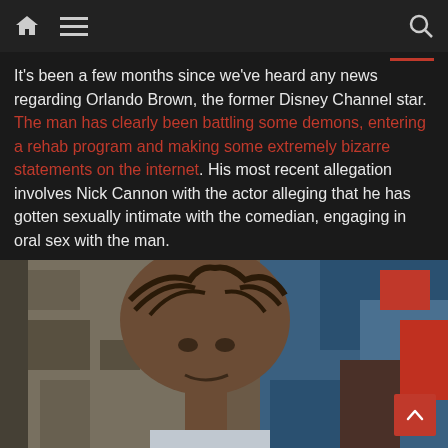Navigation bar with home, menu, and search icons
It's been a few months since we've heard any news regarding Orlando Brown, the former Disney Channel star. The man has clearly been battling some demons, entering a rehab program and making some extremely bizarre statements on the internet. His most recent allegation involves Nick Cannon with the actor alleging that he has gotten sexually intimate with the comedian, engaging in oral sex with the man.
[Figure (photo): Close-up photo of a young man with braided cornrow hairstyle, in front of a colorful mosaic background]